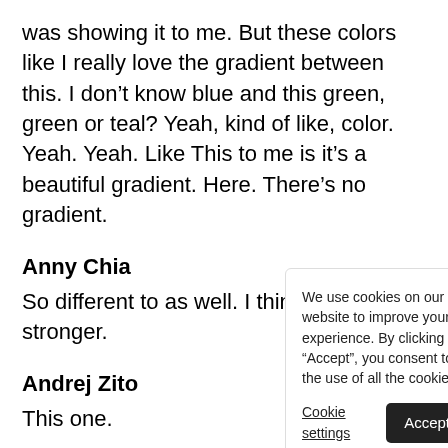was showing it to me. But these colors like I really love the gradient between this. I don't know blue and this green, green or teal? Yeah, kind of like, color. Yeah. Yeah. Like This to me is it's a beautiful gradient. Here. There's no gradient.
Anny Chia
So different to as well. I think this is stronger.
Andrej Zito
This one.
Anny Chia
I feel like mayb difference. Maybe? Yeah, I don't I think I don't like
We use cookies on our website to improve your experience. By clicking “Accept”, you consent to the use of all the cookies.